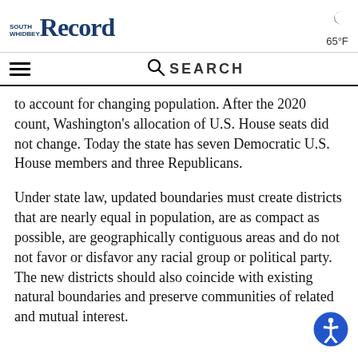SOUTH WHIDBEY RECORD — 65°F
to account for changing population. After the 2020 count, Washington's allocation of U.S. House seats did not change. Today the state has seven Democratic U.S. House members and three Republicans.
Under state law, updated boundaries must create districts that are nearly equal in population, are as compact as possible, are geographically contiguous areas and do not not favor or disfavor any racial group or political party. The new districts should also coincide with existing natural boundaries and preserve communities of related and mutual interest.